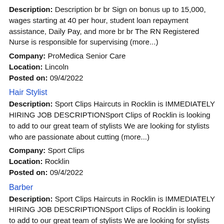Description: Description br br Sign on bonus up to 15,000, wages starting at 40 per hour, student loan repayment assistance, Daily Pay, and more br br The RN Registered Nurse is responsible for supervising (more...)
Company: ProMedica Senior Care
Location: Lincoln
Posted on: 09/4/2022
Hair Stylist
Description: Sport Clips Haircuts in Rocklin is IMMEDIATELY HIRING JOB DESCRIPTIONSport Clips of Rocklin is looking to add to our great team of stylists We are looking for stylists who are passionate about cutting (more...)
Company: Sport Clips
Location: Rocklin
Posted on: 09/4/2022
Barber
Description: Sport Clips Haircuts in Rocklin is IMMEDIATELY HIRING JOB DESCRIPTIONSport Clips of Rocklin is looking to add to our great team of stylists We are looking for stylists who are passionate about cutting (more...)
Company: Sport Clips - CA107
Location: Rocklin